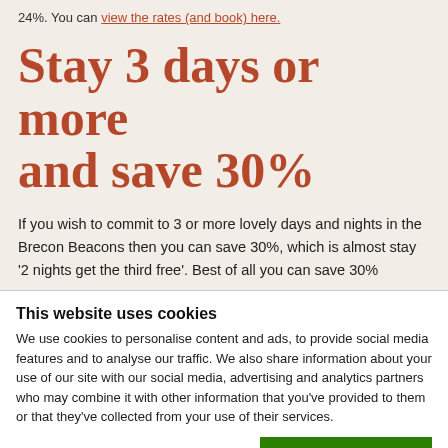24%. You can view the rates (and book) here.
Stay 3 days or more and save 30%
If you wish to commit to 3 or more lovely days and nights in the Brecon Beacons then you can save 30%, which is almost stay '2 nights get the third free'. Best of all you can save 30%
This website uses cookies
We use cookies to personalise content and ads, to provide social media features and to analyse our traffic. We also share information about your use of our site with our social media, advertising and analytics partners who may combine it with other information that you've provided to them or that they've collected from your use of their services.
OK
Necessary  Preferences  Statistics  Marketing  Show details